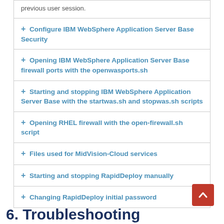previous user session.
+ Configure IBM WebSphere Application Server Base Security
+ Opening IBM WebSphere Application Server Base firewall ports with the openwasports.sh
+ Starting and stopping IBM WebSphere Application Server Base with the startwas.sh and stopwas.sh scripts
+ Opening RHEL firewall with the open-firewall.sh script
+ Files used for MidVision-Cloud services
+ Starting and stopping RapidDeploy manually
+ Changing RapidDeploy initial password
6. Troubleshooting